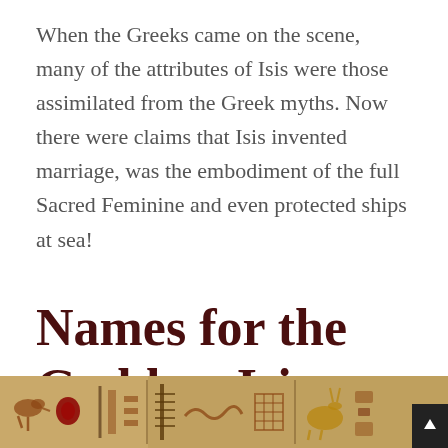When the Greeks came on the scene, many of the attributes of Isis were those assimilated from the Greek myths. Now there were claims that Isis invented marriage, was the embodiment of the full Sacred Feminine and even protected ships at sea!
Names for the Goddess Isis
[Figure (photo): Ancient Egyptian hieroglyphics carved/painted on stone or wall panel, showing colorful hieroglyphic symbols including birds, geometric shapes, and other Egyptian symbols in red, brown, and blue tones.]